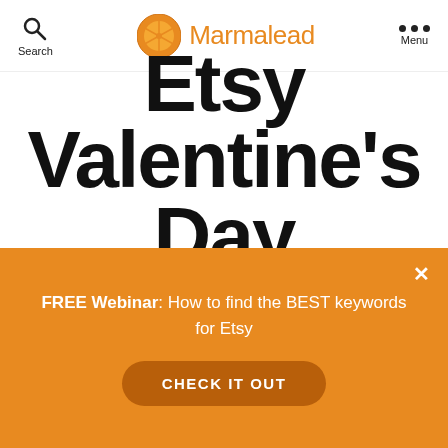Search  Marmalead  Menu
Etsy Valentine's Day
FREE Webinar: How to find the BEST keywords for Etsy
CHECK IT OUT